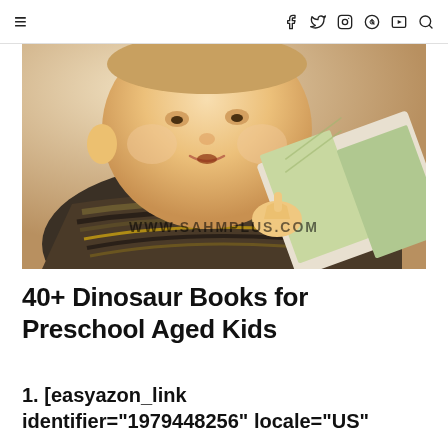≡  f  𝕏  ○  ⊕  ▶  🔍
[Figure (photo): A toddler baby reading/looking at a colorful picture book, wearing a striped brown shirt. Watermark reads WWW.SAHMPLUS.COM]
40+ Dinosaur Books for Preschool Aged Kids
1. [easyazon_link identifier="1979448256" locale="US"